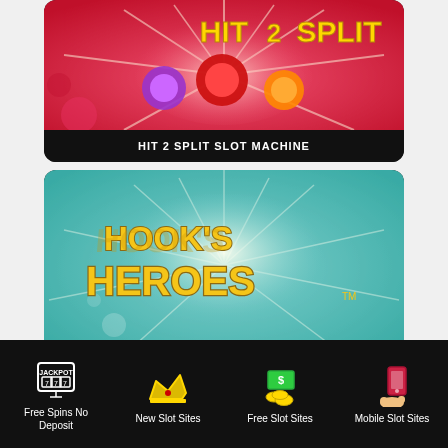[Figure (screenshot): Hit 2 Split slot machine game banner with colorful candy/fruit theme on pink/red background with starburst]
HIT 2 SPLIT SLOT MACHINE
[Figure (screenshot): Hook's Heroes slot machine game banner with golden logo text on teal/green background with starburst]
Free Spins No Deposit
New Slot Sites
Free Slot Sites
Mobile Slot Sites